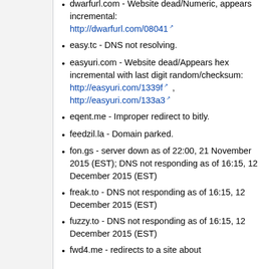dwarfurl.com - Website dead/Numeric, appears incremental: http://dwarfurl.com/08041
easy.tc - DNS not resolving.
easyuri.com - Website dead/Appears hex incremental with last digit random/checksum: http://easyuri.com/1339f , http://easyuri.com/133a3
eqent.me - Improper redirect to bitly.
feedzil.la - Domain parked.
fon.gs - server down as of 22:00, 21 November 2015 (EST); DNS not responding as of 16:15, 12 December 2015 (EST)
freak.to - DNS not responding as of 16:15, 12 December 2015 (EST)
fuzzy.to - DNS not responding as of 16:15, 12 December 2015 (EST)
fwd4.me - redirects to a site about